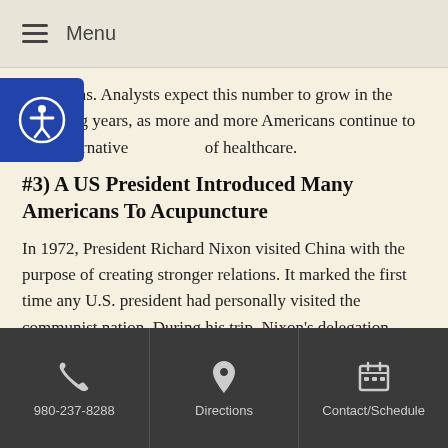Menu
conditions. Analysts expect this number to grow in the following years, as more and more Americans continue to seek alternative of healthcare.
#3) A US President Introduced Many Americans To Acupuncture
In 1972, President Richard Nixon visited China with the purpose of creating stronger relations. It marked the first time any U.S. president had personally visited the communist nation. During his trip, Nixon’s delegation observed a patient who was undergoing surgery while simultaneously receiving acupuncture as opposed to anesthesia. News of this medical miracle soon spread throughout the U.S. upon Nixon’s return.
980-237-8288  Directions  Contact/Schedule